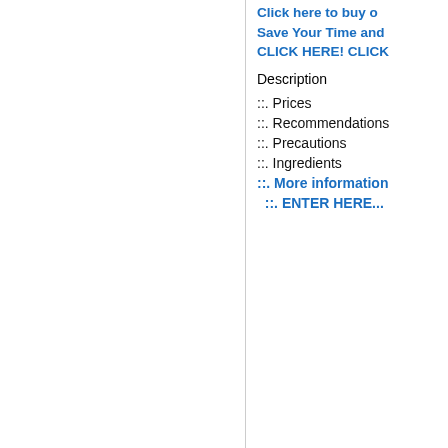[Figure (photo): Black background image with blue arc/circle at top]
Asked by redser on Oct. 6, 2014
SHARE:
Click here to buy o
Save Your Time and
CLICK HERE! CLICK
Description
::. Prices
::. Recommendations
::. Precautions
::. Ingredients
::. More information
::. ENTER HERE...